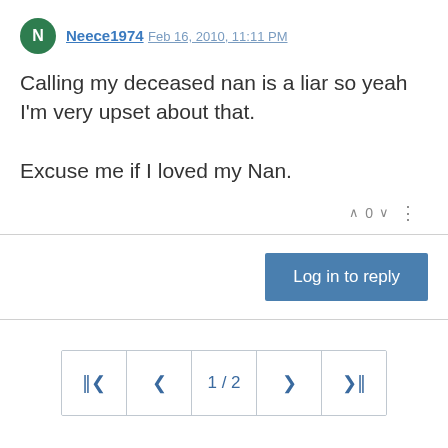Neece1974  Feb 16, 2010, 11:11 PM
Calling my deceased nan is a liar so yeah I'm very upset about that.

Excuse me if I loved my Nan.
[Figure (screenshot): Vote arrows with count 0 and more options icon]
[Figure (screenshot): Log in to reply button]
[Figure (screenshot): Pagination controls showing 1/2 with first, previous, next, last buttons]